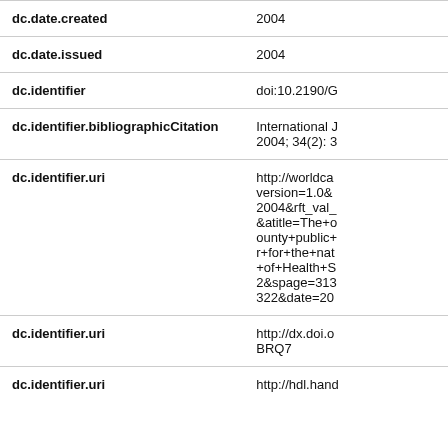| Field | Value |
| --- | --- |
| dc.date.created | 2004 |
| dc.date.issued | 2004 |
| dc.identifier | doi:10.2190/G |
| dc.identifier.bibliographicCitation | International J 2004; 34(2): 3 |
| dc.identifier.uri | http://worldca version=1.0& 2004&rft_val_ &atitle=The+o ounty+public+ r+for+the+nat +of+Health+S 2&spage=313 322&date=20 |
| dc.identifier.uri | http://dx.doi.o BRQ7 |
| dc.identifier.uri | http://hdl.hand |